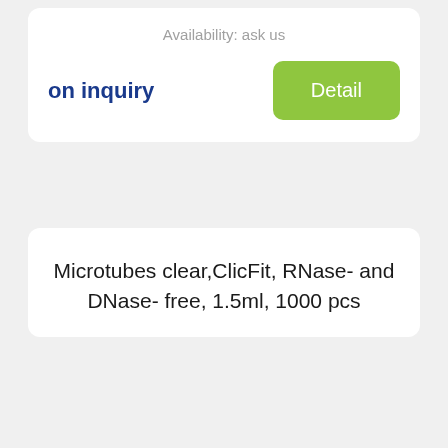Availability: ask us
on inquiry
Detail
Microtubes clear,ClicFit, RNase- and DNase- free, 1.5ml, 1000 pcs